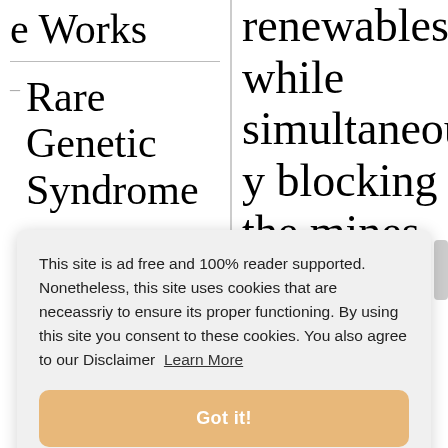e Works
Rare Genetic Syndrome
renewables while simultaneously blocking the mines that
This site is ad free and 100% reader supported. Nonetheless, this site uses cookies that are neceassriy to ensure its proper functioning. By using this site you consent to these cookies. You also agree to our Disclaimer  Learn More
Got it!